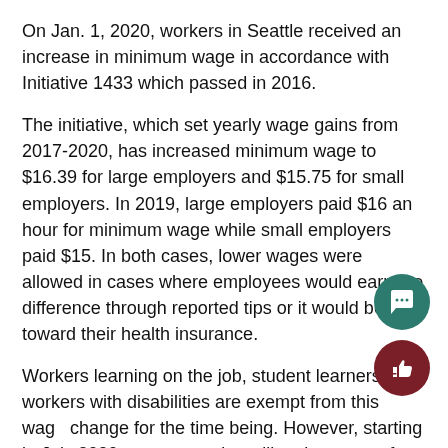On Jan. 1, 2020, workers in Seattle received an increase in minimum wage in accordance with Initiative 1433 which passed in 2016.
The initiative, which set yearly wage gains from 2017-2020, has increased minimum wage to $16.39 for large employers and $15.75 for small employers. In 2019, large employers paid $16 an hour for minimum wage while small employers paid $15. In both cases, lower wages were allowed in cases where employees would earn the difference through reported tips or it would be put toward their health insurance.
Workers learning on the job, student learners, and workers with disabilities are exempt from this wage change for the time being. However, starting in July 2020, state agencies will revise wages for disabled employees to reflect the new minimum wage.